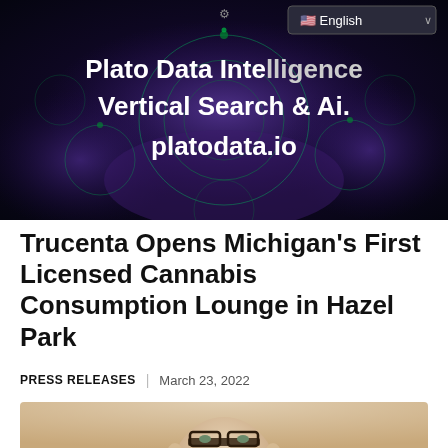[Figure (screenshot): Plato Data Intelligence banner with fractal dark green and purple background. Text reads: 'Plato Data Intelligence Vertical Search & Ai. platodata.io'. A language selector showing English flag is in the top right corner.]
Trucenta Opens Michigan’s First Licensed Cannabis Consumption Lounge in Hazel Park
PRESS RELEASES | March 23, 2022
[Figure (photo): Portrait photo of a bald man wearing dark-rimmed glasses against a light beige background.]